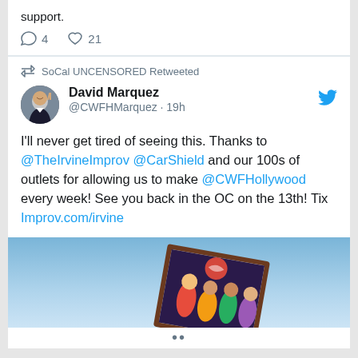support.
4 comments, 21 likes
SoCal UNCENSORED Retweeted
David Marquez @CWFHMarquez · 19h
I'll never get tired of seeing this. Thanks to @TheIrvineImprov @CarShield and our 100s of outlets for allowing us to make @CWFHollywood every week! See you back in the OC on the 13th! Tix Improv.com/irvine
[Figure (photo): A framed photograph held up against a blue sky, showing a group of colorfully dressed people]